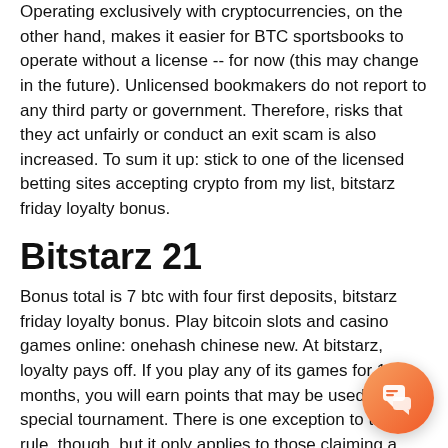Operating exclusively with cryptocurrencies, on the other hand, makes it easier for BTC sportsbooks to operate without a license -- for now (this may change in the future). Unlicensed bookmakers do not report to any third party or government. Therefore, risks that they act unfairly or conduct an exit scam is also increased. To sum it up: stick to one of the licensed betting sites accepting crypto from my list, bitstarz friday loyalty bonus.
Bitstarz 21
Bonus total is 7 btc with four first deposits, bitstarz friday loyalty bonus. Play bitcoin slots and casino games online: onehash chinese new. At bitstarz, loyalty pays off. If you play any of its games for 12 months, you will earn points that may be used in this special tournament. There is one exception to this rule, though, but it only applies to those claiming a friday loyalty bonus. The bitstarz no deposit bonus. Bitstarz friday